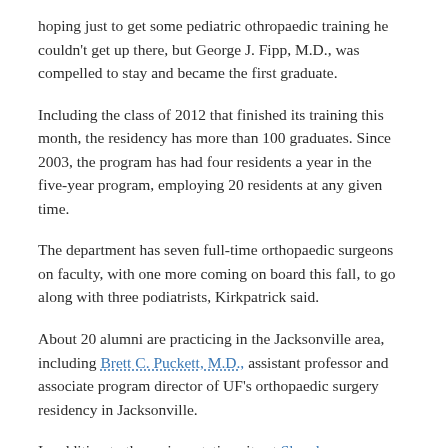hoping just to get some pediatric othropaedic training he couldn't get up there, but George J. Fipp, M.D., was compelled to stay and became the first graduate.
Including the class of 2012 that finished its training this month, the residency has more than 100 graduates. Since 2003, the program has had four residents a year in the five-year program, employing 20 residents at any given time.
The department has seven full-time orthopaedic surgeons on faculty, with one more coming on board this fall, to go along with three podiatrists, Kirkpatrick said.
About 20 alumni are practicing in the Jacksonville area, including Brett C. Puckett, M.D., assistant professor and associate program director of UF's orthopaedic surgery residency in Jacksonville.
In addition to the major rotation site at Shands Jacksonville Medical Center and experiences at the